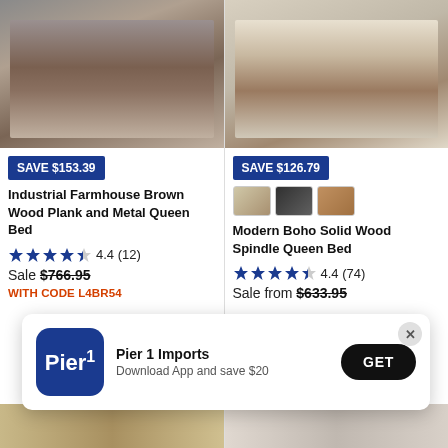[Figure (photo): Product photo of Industrial Farmhouse Brown Wood Plank and Metal Queen Bed in a styled bedroom]
SAVE $153.39
Industrial Farmhouse Brown Wood Plank and Metal Queen Bed
4.4 (12)
Sale $766.95
WITH CODE L4BR54
[Figure (photo): Product photo of Modern Boho Solid Wood Spindle Queen Bed in a styled bedroom]
SAVE $126.79
[Figure (photo): Three color swatch thumbnails for Modern Boho Solid Wood Spindle Queen Bed]
Modern Boho Solid Wood Spindle Queen Bed
4.4 (74)
Sale from $633.95
[Figure (screenshot): Pier 1 Imports app download popup banner with GET button]